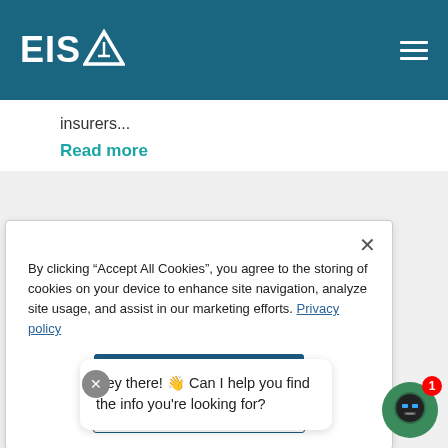EISA [logo]
insurers...
Read more
By clicking “Accept All Cookies”, you agree to the storing of cookies on your device to enhance site navigation, analyze site usage, and assist in our marketing efforts. Privacy policy
Accept All Cookies
Hey there! 👋 Can I help you find the info you're looking for?